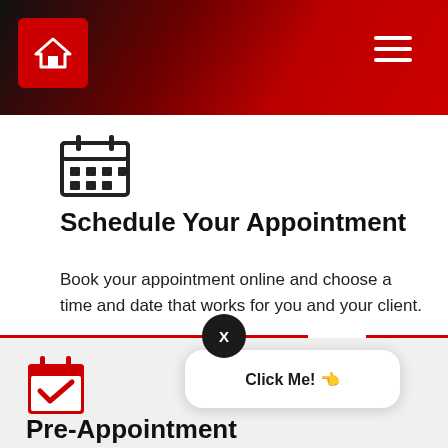Navigation bar with home icon and hamburger menu
[Figure (illustration): Red calendar grid icon]
Schedule Your Appointment
Book your appointment online and choose a time and date that works for you and your client.
[Figure (illustration): Black circle close button with X]
[Figure (illustration): Red calendar with checkmark icon]
[Figure (illustration): Click Me! button with pointing hand emoji]
Pre-Appointment